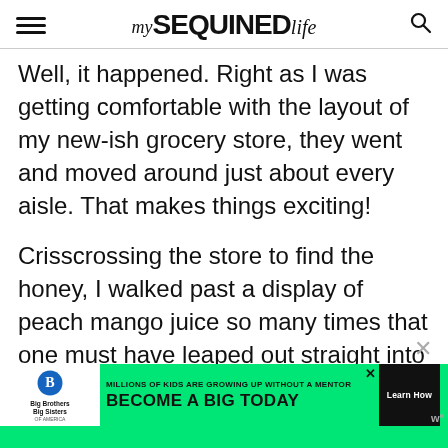my SEQUINED life
Well, it happened. Right as I was getting comfortable with the layout of my new-ish grocery store, they went and moved around just about every aisle. That makes things exciting!
Crisscrossing the store to find the honey, I walked past a display of peach mango juice so many times that one must have leaped out straight into my cart. And no
[Figure (other): Advertisement banner for Big Brothers Big Sisters: 'MILLIONS OF KIDS ARE GROWING UP WITHOUT A MENTOR. BECOME A BIG TODAY' with Learn How button on green background.]